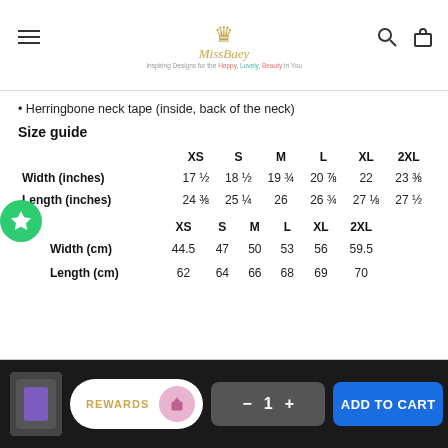MissBaey - Inspiring Designs for the Happy, Lovely, Beauty in You
Herringbone neck tape (inside, back of the neck)
Size guide
|  | XS | S | M | L | XL | 2XL |
| --- | --- | --- | --- | --- | --- | --- |
| Width (inches) | 17 ½ | 18 ½ | 19 ¾ | 20 ⅞ | 22 | 23 ⅜ |
| Length (inches) | 24 ⅜ | 25 ¼ | 26 | 26 ¾ | 27 ⅛ | 27 ½ |
|  | XS | S | M | L | XL | 2XL |
| --- | --- | --- | --- | --- | --- | --- |
| Width (cm) | 44.5 | 47 | 50 | 53 | 56 | 59.5 |
| Length (cm) | 62 | 64 | 66 | 68 | 69 | 70 |